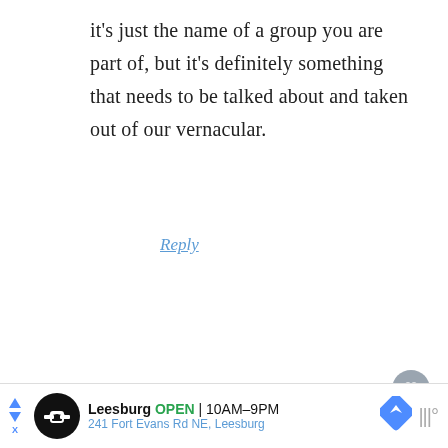it’s just the name of a group you are part of, but it’s definitely something that needs to be talked about and taken out of our vernacular.
Reply
Claire says
October 5, 2018 at 9:43 am
[Figure (other): What's Next panel with thumbnail image: Halloween On The Horizon]
Love your breakfast... and especially the
[Figure (other): Advertisement banner: Leesburg OPEN 10AM-9PM, 241 Fort Evans Rd NE, Leesburg]